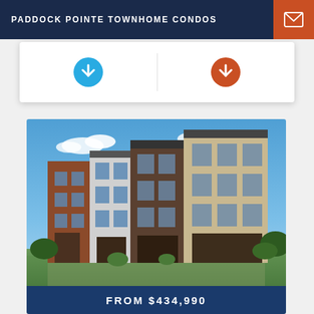PADDOCK POINTE TOWNHOME CONDOS
[Figure (illustration): Two circular arrow-down buttons: a cyan/blue one on the left and an orange one on the right, inside a white card]
[Figure (photo): Exterior photo of Paddock Pointe Townhome Condos — multi-story townhome building with brick, wood, and stone facades under a blue sky]
FROM $434,990